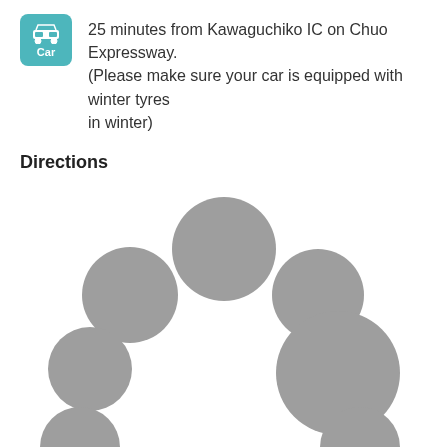25 minutes from Kawaguchiko IC on Chuo Expressway. (Please make sure your car is equipped with winter tyres in winter)
Directions
[Figure (map): A map showing directions with grey circular markers of varying sizes indicating locations, arranged in a scatter pattern across the map area.]